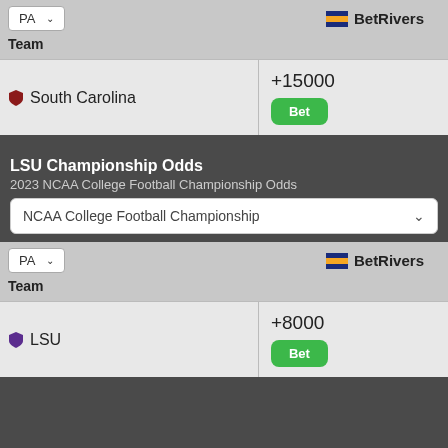| Team | BetRivers |
| --- | --- |
| South Carolina | +15000 |
LSU Championship Odds
2023 NCAA College Football Championship Odds
NCAA College Football Championship
| Team | BetRivers |
| --- | --- |
| LSU | +8000 |